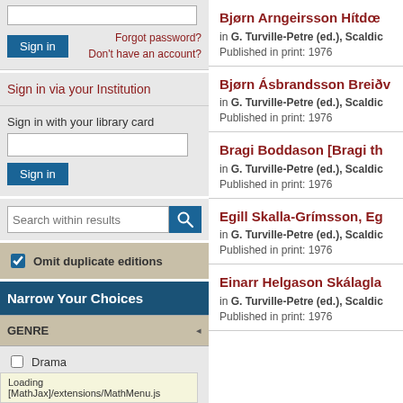Sign in
Forgot password?
Don't have an account?
Sign in via your Institution
Sign in with your library card
Sign in
Search within results
Omit duplicate editions
Narrow Your Choices
GENRE
Drama
Loading [MathJax]/extensions/MathMenu.js
Bjørn Arngeirsson Hítdœ
in G. Turville-Petre (ed.), Scaldic
Published in print: 1976
Bjørn Ásbrandsson Breiðv
in G. Turville-Petre (ed.), Scaldic
Published in print: 1976
Bragi Boddason [Bragi th
in G. Turville-Petre (ed.), Scaldic
Published in print: 1976
Egill Skalla-Grímsson, Eg
in G. Turville-Petre (ed.), Scaldic
Published in print: 1976
Einarr Helgason Skálagla
in G. Turville-Petre (ed.), Scaldic
Published in print: 1976